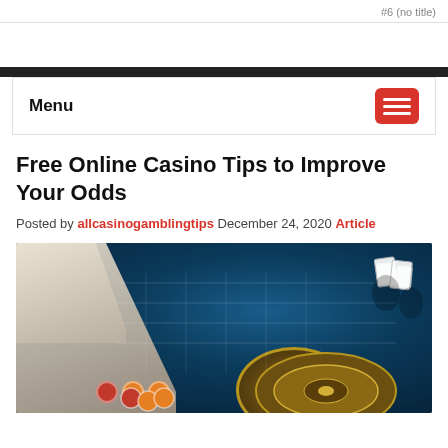#6 (no title)
Menu
Free Online Casino Tips to Improve Your Odds
Posted by allcasinogamblingtips December 24, 2020 Article
[Figure (photo): A casino dealer's hand reaching over a roulette table with chips and cards visible]